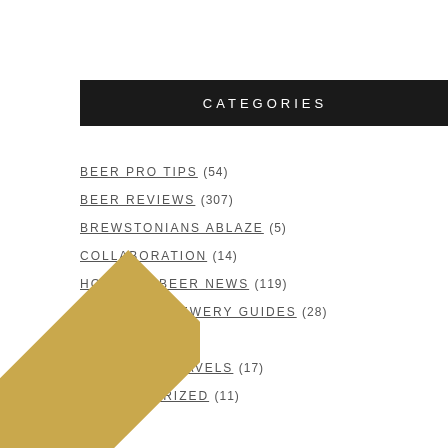CATEGORIES
BEER PRO TIPS (54)
BEER REVIEWS (307)
BREWSTONIANS ABLAZE (5)
COLLABORATION (14)
HOUSTON BEER NEWS (119)
HOUSTON BREWERY GUIDES (28)
INDUSTRY (4)
TRAIDBAIT TRAVELS (17)
UNCATEGORIZED (11)
[Figure (illustration): Gold diagonal banner in bottom-left corner with italic white text 'Psst... Hey, you!']